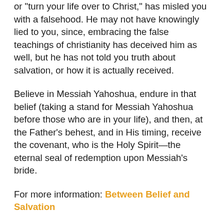or "turn your life over to Christ," has misled you with a falsehood. He may not have knowingly lied to you, since, embracing the false teachings of christianity has deceived him as well, but he has not told you truth about salvation, or how it is actually received.
Believe in Messiah Yahoshua, endure in that belief (taking a stand for Messiah Yahoshua before those who are in your life), and then, at the Father's behest, and in His timing, receive the covenant, who is the Holy Spirit—the eternal seal of redemption upon Messiah's bride.
For more information: Between Belief and Salvation